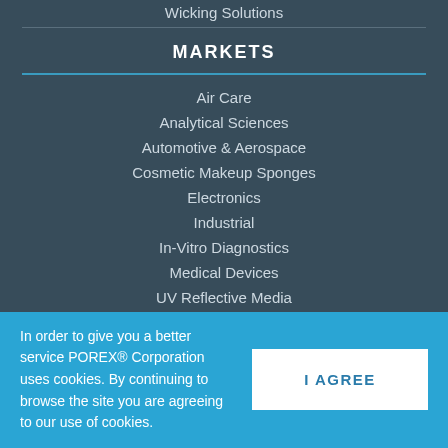Wicking Solutions
MARKETS
Air Care
Analytical Sciences
Automotive & Aerospace
Cosmetic Makeup Sponges
Electronics
Industrial
In-Vitro Diagnostics
Medical Devices
UV Reflective Media
In order to give you a better service POREX® Corporation uses cookies. By continuing to browse the site you are agreeing to our use of cookies.
I AGREE